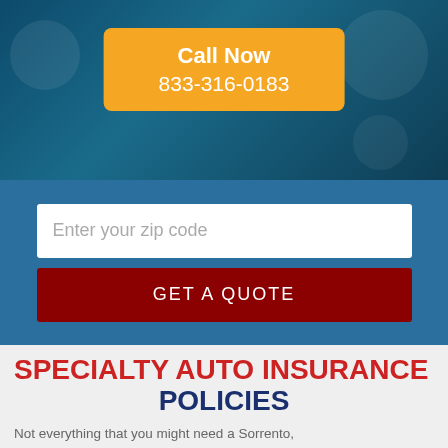[Figure (photo): Hero section with dark teal background showing car and insurance imagery]
Call Now
833-316-0183
Enter your zip code
GET A QUOTE
SPECIALTY AUTO INSURANCE POLICIES
Not everything that you might need a Sorrento, Florida insurance policy for falls under standard insurance policies. When this is the case, then specialty auto insurance policies are your best bet.